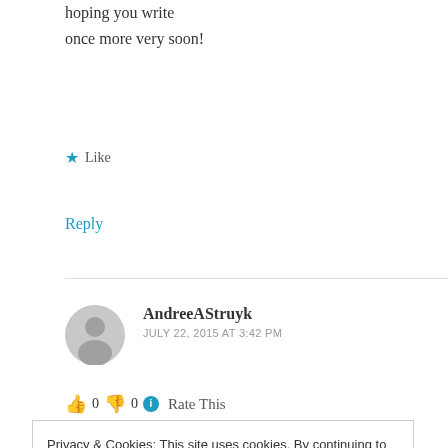hoping you write once more very soon!
★ Like
Reply
AndreeAStruyk
JULY 22, 2015 AT 3:42 PM
👍 0 👎 0 ℹ Rate This
Privacy & Cookies: This site uses cookies. By continuing to use this website, you agree to their use.
To find out more, including how to control cookies, see here: Cookie Policy
Close and accept
Perhaps you can write next articles referring to this